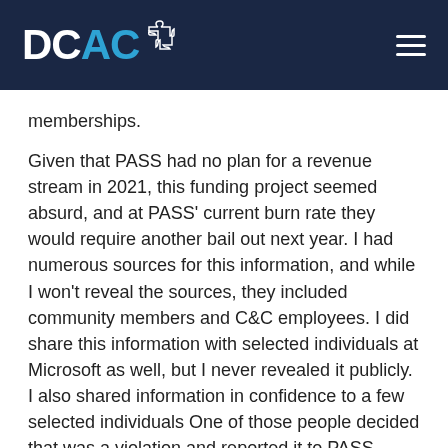DCAC [logo with puzzle piece]
memberships.
Given that PASS had no plan for a revenue stream in 2021, this funding project seemed absurd, and at PASS' current burn rate they would require another bail out next year. I had numerous sources for this information, and while I won't reveal the sources, they included community members and C&C employees. I did share this information with selected individuals at Microsoft as well, but I never revealed it publicly. I also shared information in confidence to a few selected individuals One of those people decided that was a violation and reported it to PASS exec. I have a couple of things to say about this—first of which is that in the application that prospective board members sign, there is no reference to an NDA, and I was not under